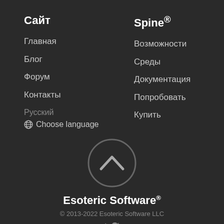Сайт
Главная
Блог
Форум
Контакты
Русский
🌐 Choose language
Spine®
Возможности
Среды
Документация
Попробовать
Купить
[Figure (illustration): Circular chevron-up button icon in dark gray]
Esoteric Software®
© 2013-2022 Esoteric Software LLC
[Figure (logo): Twitter bird icon]